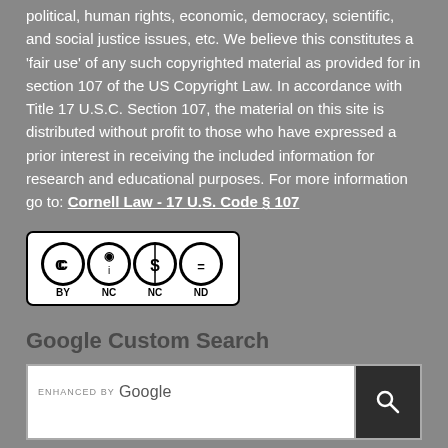political, human rights, economic, democracy, scientific, and social justice issues, etc. We believe this constitutes a 'fair use' of any such copyrighted material as provided for in section 107 of the US Copyright Law. In accordance with Title 17 U.S.C. Section 107, the material on this site is distributed without profit to those who have expressed a prior interest in receiving the included information for research and educational purposes. For more information go to: Cornell Law - 17 U.S. Code § 107
[Figure (logo): Creative Commons BY NC ND license badge]
Google Custom Search
[Figure (screenshot): Google Custom Search box with 'ENHANCED BY Google' label and a search button with magnifying glass icon]
Recent Posts